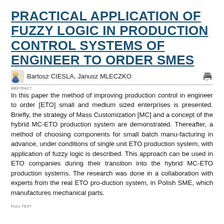PRACTICAL APPLICATION OF FUZZY LOGIC IN PRODUCTION CONTROL SYSTEMS OF ENGINEER TO ORDER SMES
Bartosz CIESLA, Janusz MLECZKO
ABSTRACT
In this paper the method of improving production control in engineer to order [ETO] small and medium sized enterprises is presented. Briefly, the strategy of Mass Customization [MC] and a concept of the hybrid MC-ETO production system are demonstrated. Thereafter, a method of choosing components for small batch manu-facturing in advance, under conditions of single unit ETO production system, with application of fuzzy logic is described. This approach can be used in ETO companies during their transition into the hybrid MC-ETO production systems. The research was done in a collaboration with experts from the real ETO pro-duction system, in Polish SME, which manufactures mechanical parts.
FULL TEXT